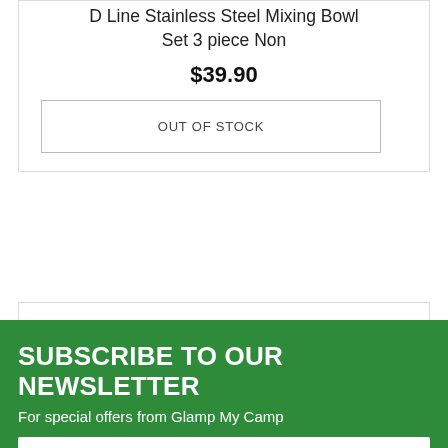D Line Stainless Steel Mixing Bowl Set 3 piece Non
$39.90
OUT OF STOCK
Casa Uno Stainless Steel Cheese Knife Set - 2 Piec
$13.00
ADD TO CART
SUBSCRIBE TO OUR NEWSLETTER
For special offers from Glamp My Camp
Email Address